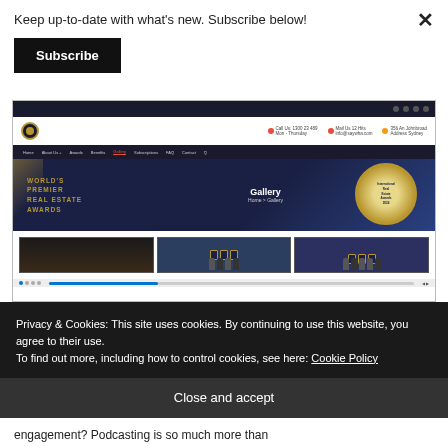Keep up-to-date with what's new. Subscribe below!
Subscribe
[Figure (screenshot): Screenshot of SAYWHA World's Premier Real Estate Awards website showing the Gallery page with navigation, hero banner, gold shield emblem, and photo thumbnails]
SAYWHA BLOGS // SAYWHA HEADLINES
Privacy & Cookies: This site uses cookies. By continuing to use this website, you agree to their use. To find out more, including how to control cookies, see here: Cookie Policy
Close and accept
engagement? Podcasting is so much more than